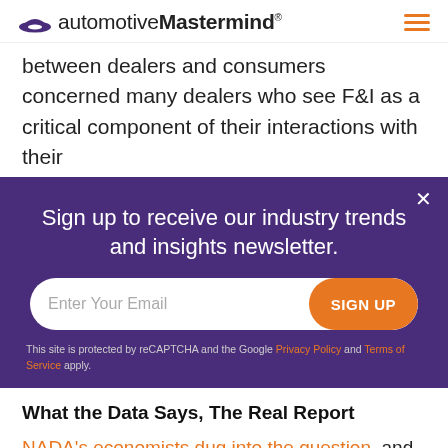automotiveMastermind®
between dealers and consumers concerned many dealers who see F&I as a critical component of their interactions with their
Sign up to receive our industry trends and insights newsletter.
Enter Your Email  SIGN UP
This site is protected by reCAPTCHA and the Google Privacy Policy and Terms of Service apply.
What the Data Says, The Real Report
NADA's economists dug into the question, and it appears the issue isn't that consumers aren't